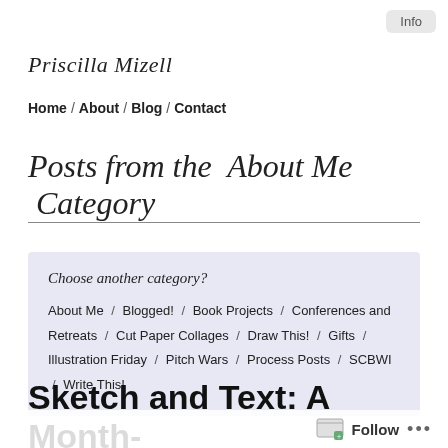Info
Priscilla Mizell
Home / About / Blog / Contact
Posts from the About Me Category
Choose another category?
About Me / Blogged! / Book Projects / Conferences and Retreats / Cut Paper Collages / Draw This! / Gifts / Illustration Friday / Pitch Wars / Process Posts / SCBWI / Write This!
Sketch and Text: A Month-
Follow ...